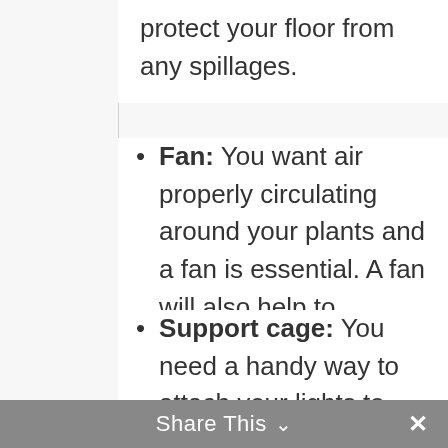protect your floor from any spillages.
Fan: You want air properly circulating around your plants and a fan is essential. A fan will also help to eliminate common problems like unwanted pests and leaf mold. Be prepared.
Support cage: You need a handy way to attach your lights to your Tower Garden. A cage is ideal.
Share This ×